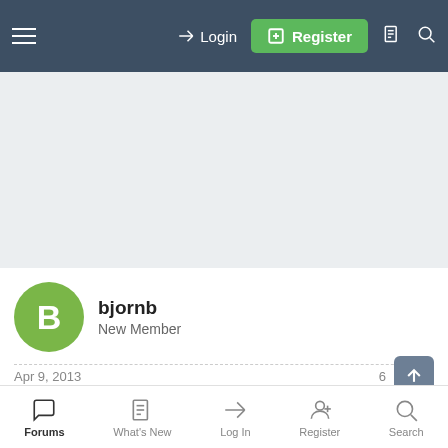Login | Register
[Figure (other): Advertisement / placeholder gray area]
bjornb
New Member
Apr 9, 2013
Patch tuesday and Surface Pro firmware update:
Forums | What's New | Log In | Register | Search